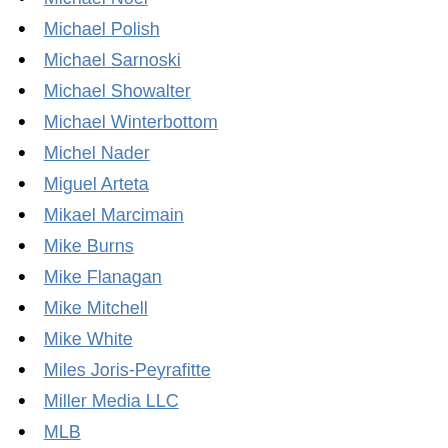Michael Noel
Michael Polish
Michael Sarnoski
Michael Showalter
Michael Winterbottom
Michel Nader
Miguel Arteta
Mikael Marcimain
Mike Burns
Mike Flanagan
Mike Mitchell
Mike White
Miles Joris-Peyrafitte
Miller Media LLC
MLB
Mobge Ltd
Mobile Quest
Mona Fastvold
Monash University